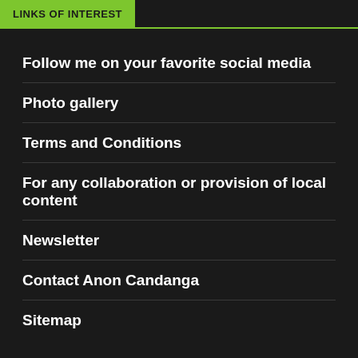LINKS OF INTEREST
Follow me on your favorite social media
Photo gallery
Terms and Conditions
For any collaboration or provision of local content
Newsletter
Contact Anon Candanga
Sitemap
YOU MAY HAVE MISSED
[Figure (photo): Thumbnail image with play button overlay]
Privacy & Cookies Policy